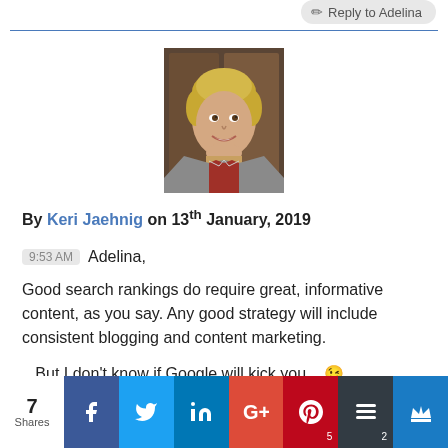Reply to Adelina
[Figure (photo): Profile photo of Keri Jaehnig, a woman with short blonde hair smiling, wearing a grey blazer, seated in front of dark wooden furniture]
By Keri Jaehnig on 13th January, 2019
9:53 AM  Adelina,
Good search rankings do require great, informative content, as you say. Any good strategy will include consistent blogging and content marketing.
...But I don't know if Google will kick you... 😉
Consistent, updated content that will help your ideal target
7 Shares | Facebook | Twitter | LinkedIn | Google+ | Pinterest 5 | Buffer 2 | Crown